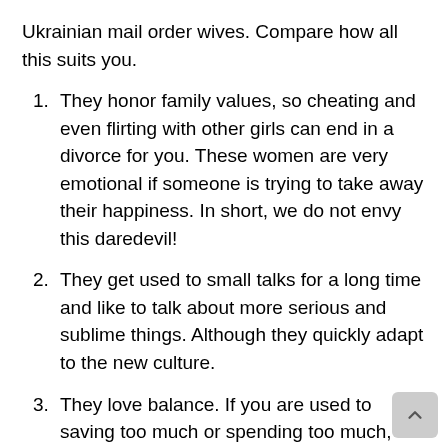Ukrainian mail order wives. Compare how all this suits you.
They honor family values, so cheating and even flirting with other girls can end in a divorce for you. These women are very emotional if someone is trying to take away their happiness. In short, we do not envy this daredevil!
They get used to small talks for a long time and like to talk about more serious and sublime things. Although they quickly adapt to the new culture.
They love balance. If you are used to saving too much or spending too much, it will annoy her. Ukrainians do not like to squander or be greedy.
They are hospitable. Each guest is important to her and she will do everything to make him feel comfortable. She will put on the table the best